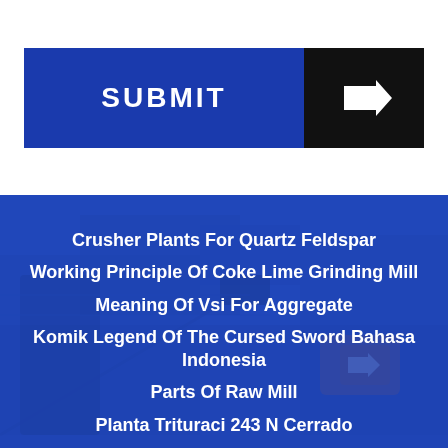[Figure (screenshot): SUBMIT button with blue left section labeled SUBMIT and black right section with white right arrow icon]
Crusher Plants For Quartz Feldspar
Working Principle Of Coke Lime Grinding Mill
Meaning Of Vsi For Aggregate
Komik Legend Of The Cursed Sword Bahasa Indonesia
Parts Of Raw Mill
Planta Trituraci 243 N Cerrado